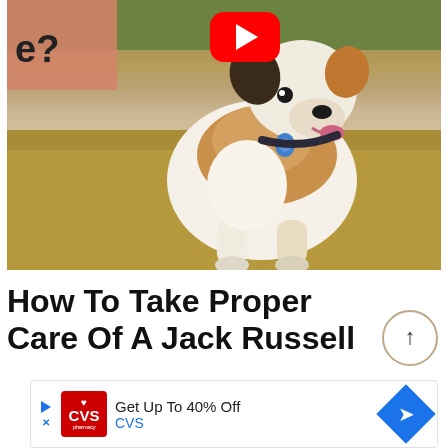[Figure (photo): A Jack Russell terrier dog sitting on dry grass outdoors with a YouTube play button overlay in the top center and a salmon/pink overlay in the top-left corner with partial text 'e?']
How To Take Proper Care Of A Jack Russell
[Figure (other): CVS pharmacy advertisement banner: 'Get Up To 40% Off' from CVS, with CVS logo, play/close ad icons, and blue diamond arrow icon]